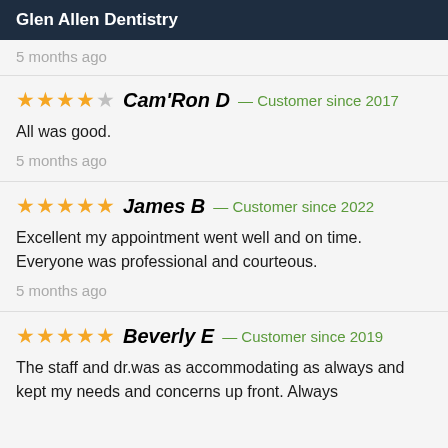Glen Allen Dentistry
5 months ago
★★★★☆ Cam'Ron D — Customer since 2017
All was good.
5 months ago
★★★★★ James B — Customer since 2022
Excellent my appointment went well and on time. Everyone was professional and courteous.
5 months ago
★★★★★ Beverly E — Customer since 2019
The staff and dr.was as accommodating as always and kept my needs and concerns up front. Always